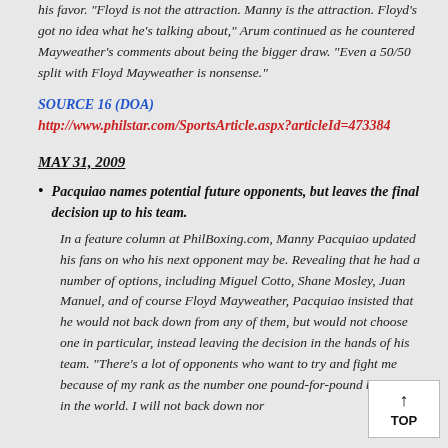his favor. "Floyd is not the attraction. Manny is the attraction. Floyd's got no idea what he's talking about," Arum continued as he countered Mayweather's comments about being the bigger draw. "Even a 50/50 split with Floyd Mayweather is nonsense."
SOURCE 16 (DOA)
http://www.philstar.com/SportsArticle.aspx?articleId=473384
MAY 31, 2009
Pacquiao names potential future opponents, but leaves the final decision up to his team.
In a feature column at PhilBoxing.com, Manny Pacquiao updated his fans on who his next opponent may be. Revealing that he had a number of options, including Miguel Cotto, Shane Mosley, Juan Manuel, and of course Floyd Mayweather, Pacquiao insisted that he would not back down from any of them, but would not choose one in particular, instead leaving the decision in the hands of his team. "There's a lot of opponents who want to try and fight me because of my rank as the number one pound-for-pound best fighter in the world. I will not back down nor